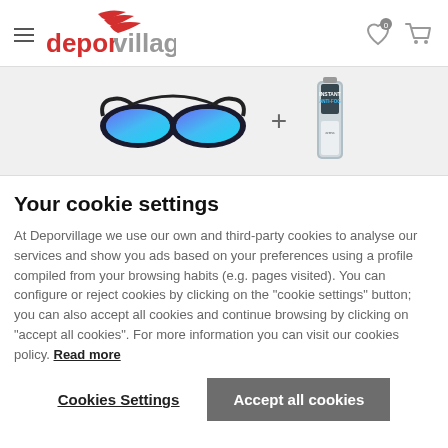[Figure (logo): Deporvillage logo with red swoosh marks and grey/red brand name text]
[Figure (photo): Swimming goggles (blue/black mirrored) plus sign and a small bottle of anti-fog solution]
Your cookie settings
At Deporvillage we use our own and third-party cookies to analyse our services and show you ads based on your preferences using a profile compiled from your browsing habits (e.g. pages visited). You can configure or reject cookies by clicking on the "cookie settings" button; you can also accept all cookies and continue browsing by clicking on "accept all cookies". For more information you can visit our cookies policy. Read more
Cookies Settings
Accept all cookies